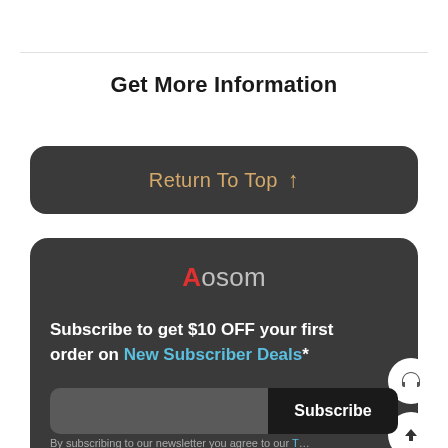Get More Information
Return To Top ↑
[Figure (logo): Aosom logo with red capital A followed by 'osom' in gray]
Subscribe to get $10 OFF your first order on New Subscriber Deals*
Subscribe
By subscribing to our newsletter you agree to our T…